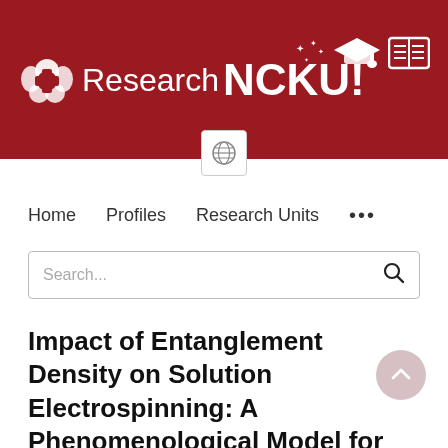[Figure (logo): Research NCKU! university portal website header banner with dark red background, white emblem/flower logo, text 'Research NCKU!' and icons of graduation cap, book, and stars]
Home   Profiles   Research Units   ...
Search...
Impact of Entanglement Density on Solution Electrospinning: A Phenomenological Model for Fiber Diameter
Chi Wang, Yu Wang, Takeji Hashimoto